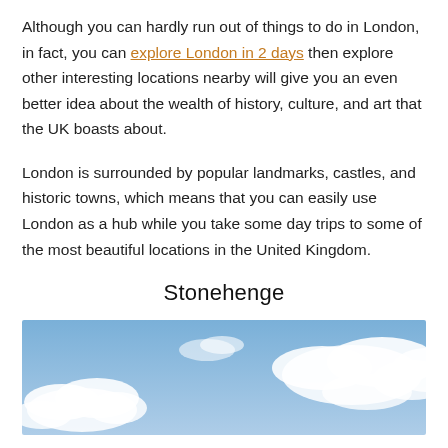Although you can hardly run out of things to do in London, in fact, you can explore London in 2 days then explore other interesting locations nearby will give you an even better idea about the wealth of history, culture, and art that the UK boasts about.
London is surrounded by popular landmarks, castles, and historic towns, which means that you can easily use London as a hub while you take some day trips to some of the most beautiful locations in the United Kingdom.
Stonehenge
[Figure (photo): A wide panoramic photo showing a blue sky with white clouds, representing the sky above Stonehenge.]